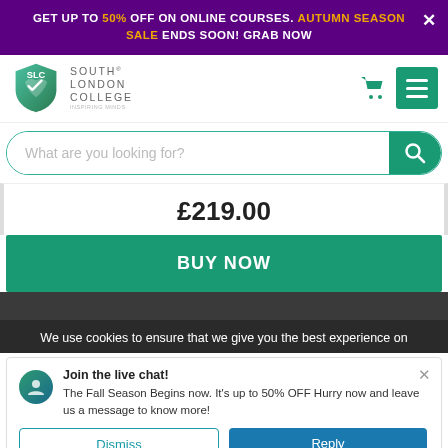GET UP TO 50% OFF ON ONLINE COURSES. AUTUMN SEASON SALE ENDS SOON! GRAB NOW
[Figure (logo): South London College logo with shield icon and text SOUTH LONDON COLLEGE, INSPIRING MINDS]
[Figure (screenshot): Search bar with placeholder text 'What are you looking for?' and teal search button]
£219.00
BUY NOW
We use cookies to ensure that we give you the best experience on
Join the live chat! The Fall Season Begins now. It's up to 50% OFF Hurry now and leave us a message to know more!
Dismiss
Reply